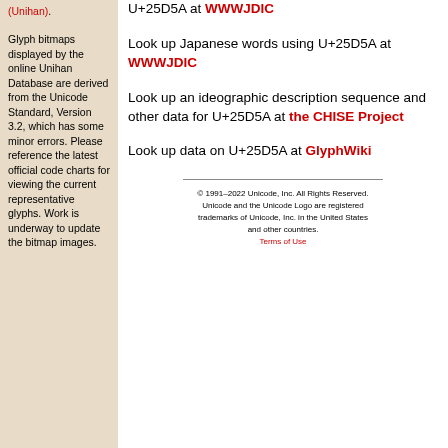(Unihan).
Glyph bitmaps displayed by the online Unihan Database are derived from the Unicode Standard, Version 3.2, which has some minor errors. Please reference the latest official code charts for viewing the current representative glyphs. Work is underway to update the bitmap images.
U+25D5A at WWWJDIC
Look up Japanese words using U+25D5A at WWWJDIC
Look up an ideographic description sequence and other data for U+25D5A at the CHISE Project
Look up data on U+25D5A at GlyphWiki
© 1991-2022 Unicode, Inc. All Rights Reserved. Unicode and the Unicode Logo are registered trademarks of Unicode, Inc. in the United States and other countries. Terms of Use